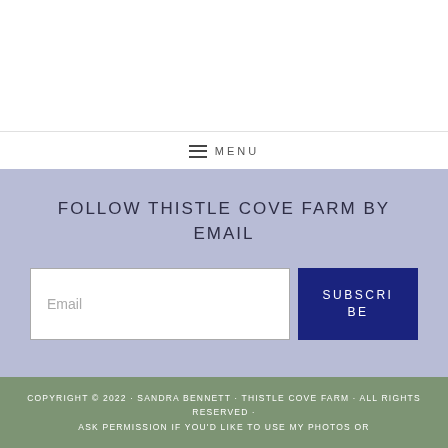MENU
FOLLOW THISTLE COVE FARM BY EMAIL
Email [input field] SUBSCRIBE
COPYRIGHT © 2022 · SANDRA BENNETT · THISTLE COVE FARM · ALL RIGHTS RESERVED · ASK PERMISSION IF YOU'D LIKE TO USE MY PHOTOS OR